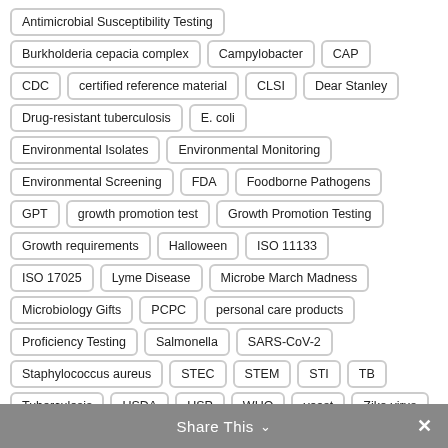Antimicrobial Susceptibility Testing
Burkholderia cepacia complex
Campylobacter
CAP
CDC
certified reference material
CLSI
Dear Stanley
Drug-resistant tuberculosis
E. coli
Environmental Isolates
Environmental Monitoring
Environmental Screening
FDA
Foodborne Pathogens
GPT
growth promotion test
Growth Promotion Testing
Growth requirements
Halloween
ISO 11133
ISO 17025
Lyme Disease
Microbe March Madness
Microbiology Gifts
PCPC
personal care products
Proficiency Testing
Salmonella
SARS-CoV-2
Staphylococcus aureus
STEC
STEM
STI
TB
Tuberculosis
USDA
USP
WHO
yeast
Zika virus
Share This ∨  ✕